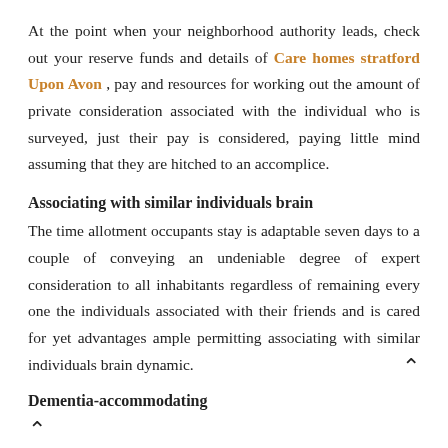At the point when your neighborhood authority leads, check out your reserve funds and details of Care homes stratford Upon Avon , pay and resources for working out the amount of private consideration associated with the individual who is surveyed, just their pay is considered, paying little mind assuming that they are hitched to an accomplice.
Associating with similar individuals brain
The time allotment occupants stay is adaptable seven days to a couple of conveying an undeniable degree of expert consideration to all inhabitants regardless of remaining every one the individuals associated with their friends and is cared for yet advantages ample permitting associating with similar individuals brain dynamic.
Dementia-accommodating